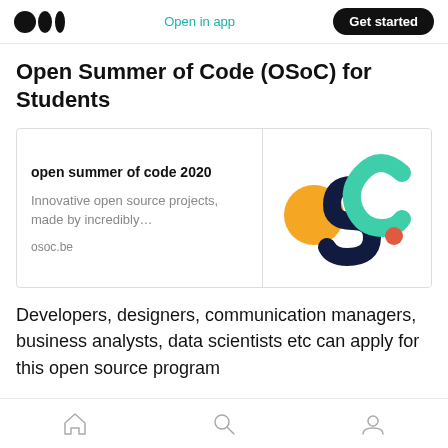Open in app | Get started
Open Summer of Code (OSoC) for Students
[Figure (screenshot): Link card for 'open summer of code 2020' with OSoC logo on the right. Text: 'Innovative open source projects, made by incredibly…' and URL: osoc.be]
Developers, designers, communication managers, business analysts, data scientists etc can apply for this open source program
Home | Search | Profile